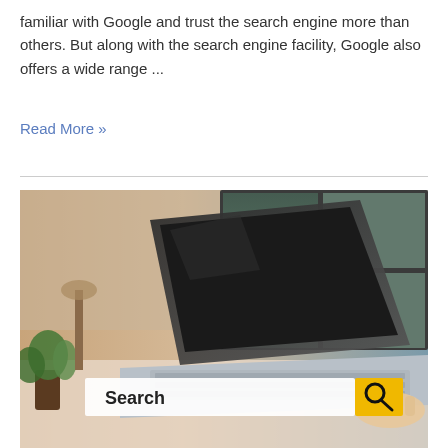familiar with Google and trust the search engine more than others. But along with the search engine facility, Google also offers a wide range ...
Read More »
[Figure (photo): Person typing on a laptop at a desk near a window, with a plant in the foreground. Overlaid on the image is a search bar with the word 'Search' and a yellow search button with a magnifying glass icon.]